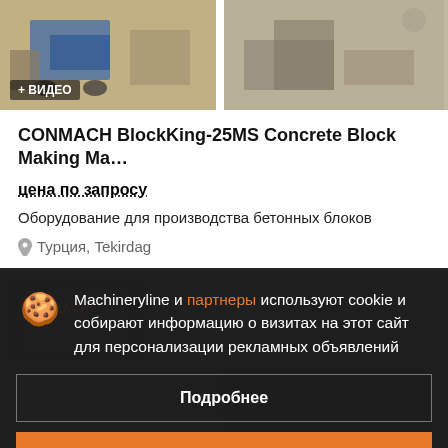[Figure (photo): Two product images side by side. Left image shows construction equipment with blue cart, has a '+ ВИДЕО' badge overlay. Right image shows machinery/equipment on ground.]
CONMACH BlockKing-25MS Concrete Block Making Ma...
цена по запросу
Оборудование для производства бетонных блоков
Турция, Tekirdag
Machineryline и партнеры используют cookie и собирают информацию о визитах на этот сайт для персонализации рекламных объявлений
Подробнее
Согласиться и закрыть